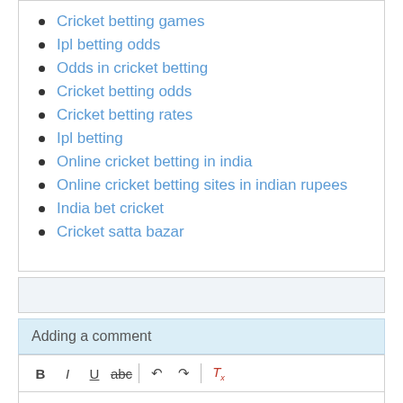Cricket betting games
Ipl betting odds
Odds in cricket betting
Cricket betting odds
Cricket betting rates
Ipl betting
Online cricket betting in india
Online cricket betting sites in indian rupees
India bet cricket
Cricket satta bazar
Adding a comment